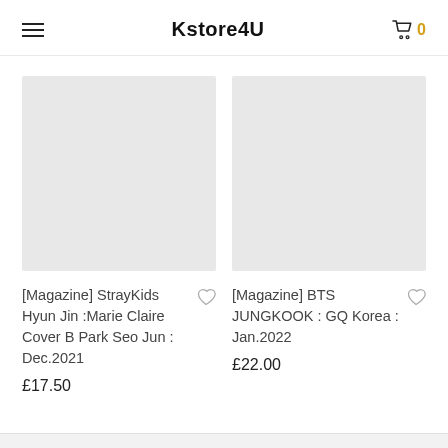Kstore4U
[Figure (other): Product image placeholder (grey box) for StrayKids Hyun Jin Marie Claire magazine]
[Magazine] StrayKids Hyun Jin :Marie Claire Cover B Park Seo Jun : Dec.2021
£17.50
[Figure (other): Product image placeholder (grey box) for BTS JUNGKOOK GQ Korea magazine]
[Magazine] BTS JUNGKOOK : GQ Korea : Jan.2022
£22.00